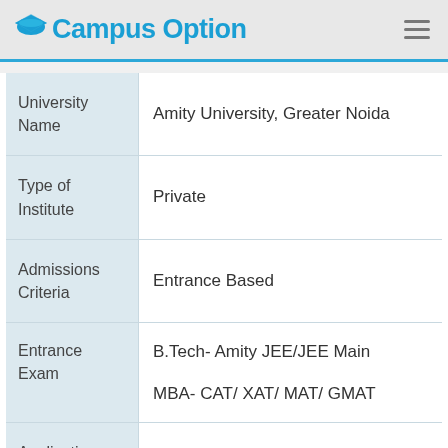Campus Option
| University Name | Amity University, Greater Noida |
| Type of Institute | Private |
| Admissions Criteria | Entrance Based |
| Entrance Exam | B.Tech- Amity JEE/JEE Main
MBA- CAT/ XAT/ MAT/ GMAT |
| Application Mode | Online |